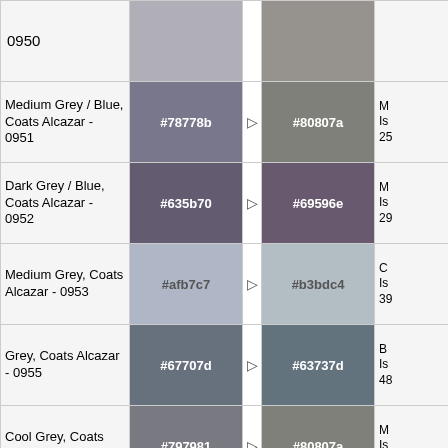| Name | Hex Color 1 |  | Hex Color 2 | Notes |
| --- | --- | --- | --- | --- |
| 0950 |  |  |  |  |
| Medium Grey / Blue, Coats Alcazar - 0951 | #78778b | → | #80807a | M Is 25 |
| Dark Grey / Blue, Coats Alcazar - 0952 | #635b70 | → | #69596e | M Is 29 |
| Medium Grey, Coats Alcazar - 0953 | #afb7c7 | → | #b3bdc4 | C Is 39 |
| Grey, Coats Alcazar - 0955 | #67707d | → | #63737d | B Is 48 |
| Cool Grey, Coats Alcazar - 0965 | #797981 | → | #80807a | M Is 25 |
| Grey, Coats Alcazar - 0966 | #5b636f | → | #5c696b | G Is 52 |
| Grey, Coats Alcazar - … |  |  |  | F |